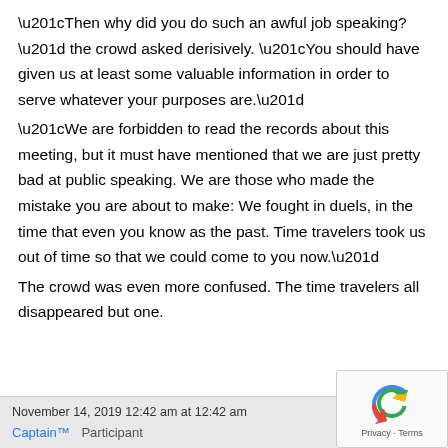“Then why did you do such an awful job speaking?” the crowd asked derisively. “You should have given us at least some valuable information in order to serve whatever your purposes are.”
“We are forbidden to read the records about this meeting, but it must have mentioned that we are just pretty bad at public speaking. We are those who made the mistake you are about to make: We fought in duels, in the time that even you know as the past. Time travelers took us out of time so that we could come to you now.”
The crowd was even more confused. The time travelers all disappeared but one.
November 14, 2019 12:42 am at 12:42 am
Captain™  Participant